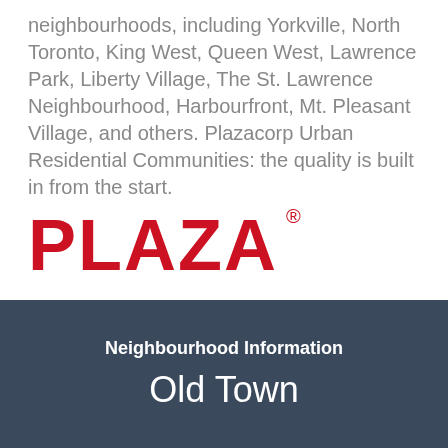neighbourhoods, including Yorkville, North Toronto, King West, Queen West, Lawrence Park, Liberty Village, The St. Lawrence Neighbourhood, Harbourfront, Mt. Pleasant Village, and others. Plazacorp Urban Residential Communities: the quality is built in from the start.
[Figure (logo): PLAZA logo in red with registered trademark symbol]
Neighbourhood Information
Old Town